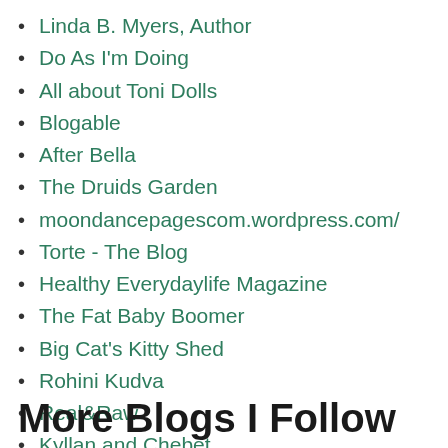Linda B. Myers, Author
Do As I'm Doing
All about Toni Dolls
Blogable
After Bella
The Druids Garden
moondancepagescom.wordpress.com/
Torte - The Blog
Healthy Everydaylife Magazine
The Fat Baby Boomer
Big Cat's Kitty Shed
Rohini Kudva
Real&Raw
Kyllan and Chebet
More Blogs I Follow